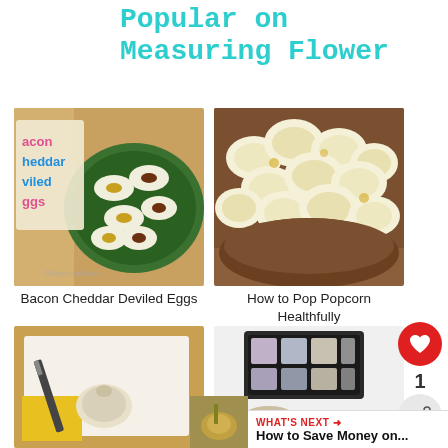Popular on Measuring Flower
[Figure (photo): Bacon Cheddar Deviled Eggs on a green plate with text overlay]
Bacon Cheddar Deviled Eggs
[Figure (photo): Popcorn in a bowl - How to Pop Popcorn Healthfully]
How to Pop Popcorn Healthfully
[Figure (photo): Knife and garlic on cutting board]
[Figure (photo): Makeup palette and brushes]
WHAT'S NEXT → How to Save Money on...